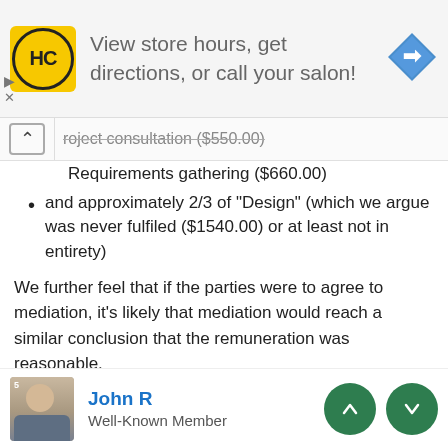[Figure (screenshot): Advertisement banner for a hair salon chain (HC logo) with text 'View store hours, get directions, or call your salon!' and a blue navigation diamond icon]
Project consultation ($550.00)
Requirements gathering ($660.00)
and approximately 2/3 of "Design" (which we argue was never fulfiled ($1540.00) or at least not in entirety)
We further feel that if the parties were to agree to mediation, it's likely that mediation would reach a similar conclusion that the remuneration was reasonable.
In conclusion we feel this matter has been addressed and closed.
John R
Well-Known Member